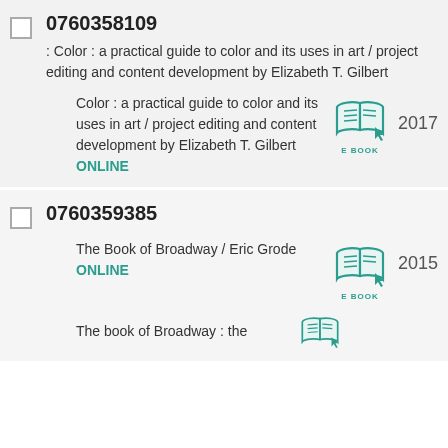0760358109 : Color : a practical guide to color and its uses in art / project editing and content development by Elizabeth T. Gilbert | Color : a practical guide to color and its uses in art / project editing and content development by Elizabeth T. Gilbert ONLINE | E BOOK | 2017
0760359385 | The Book of Broadway / Eric Grode ONLINE | E BOOK | 2015 | The book of Broadway : the